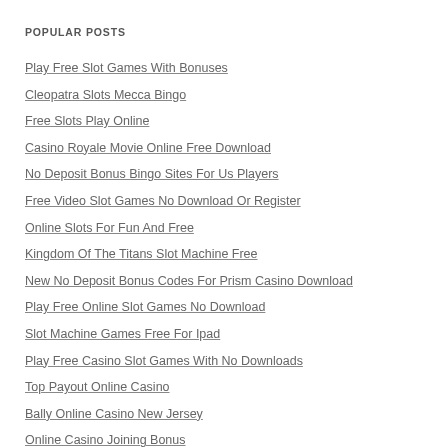POPULAR POSTS
Play Free Slot Games With Bonuses
Cleopatra Slots Mecca Bingo
Free Slots Play Online
Casino Royale Movie Online Free Download
No Deposit Bonus Bingo Sites For Us Players
Free Video Slot Games No Download Or Register
Online Slots For Fun And Free
Kingdom Of The Titans Slot Machine Free
New No Deposit Bonus Codes For Prism Casino Download
Play Free Online Slot Games No Download
Slot Machine Games Free For Ipad
Play Free Casino Slot Games With No Downloads
Top Payout Online Casino
Bally Online Casino New Jersey
Online Casino Joining Bonus
Online Casino Games Free Bonus No Deposit Usa Casinos